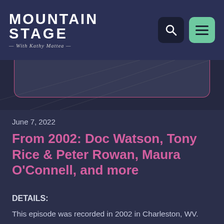Mountain Stage with Kathy Mattea
[Figure (screenshot): Partial media player or episode image area with dark background and pink border, partially visible at top of content]
June 7, 2022
From 2002: Doc Watson, Tony Rice & Peter Rowan, Maura O'Connell, and more
DETAILS:
This episode was recorded in 2002 in Charleston, WV. The lineup includes Doc Watson,